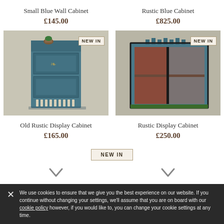Small Blue Wall Cabinet
£145.00
Rustic Blue Cabinet
£825.00
[Figure (photo): Small blue rustic wall cabinet with plant on top, mounted on a white textured wall. NEW IN badge visible.]
[Figure (photo): Rustic blue open display cabinet with glass panel, two shelves, reddish interior, standing against a textured wall. NEW IN badge visible.]
Old Rustic Display Cabinet
£165.00
Rustic Display Cabinet
£250.00
NEW IN
We use cookies to ensure that we give you the best experience on our website. If you continue without changing your settings, we'll assume that you are on board with our cookie policy however, if you would like to, you can change your cookie settings at any time.